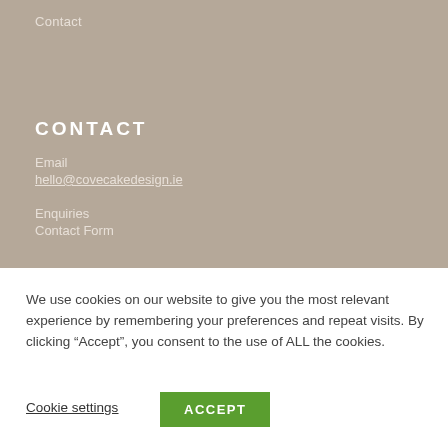Contact
CONTACT
Email
hello@covecakedesign.ie
Enquiries
Contact Form
We use cookies on our website to give you the most relevant experience by remembering your preferences and repeat visits. By clicking “Accept”, you consent to the use of ALL the cookies.
Cookie settings
ACCEPT